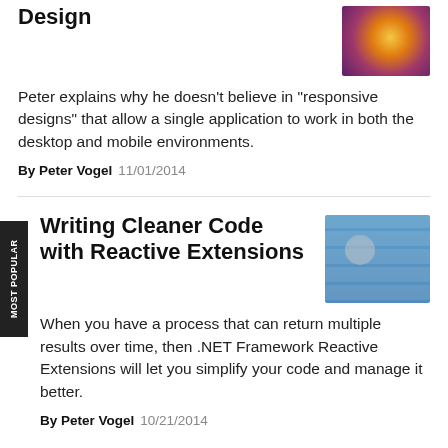Design
Peter explains why he doesn't believe in "responsive designs" that allow a single application to work in both the desktop and mobile environments.
By Peter Vogel  11/01/2014
Writing Cleaner Code with Reactive Extensions
When you have a process that can return multiple results over time, then .NET Framework Reactive Extensions will let you simplify your code and manage it better.
By Peter Vogel  10/21/2014